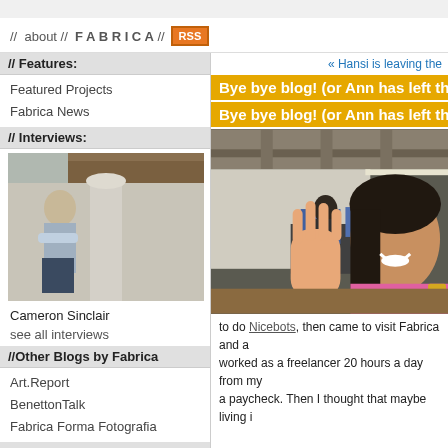// about // FABRICA// RSS
// Features:
Featured Projects
Fabrica News
// Interviews:
[Figure (photo): Photo of Cameron Sinclair standing in front of a column, arms crossed]
Cameron Sinclair
see all interviews
//Other Blogs by Fabrica
Art.Report
BenettonTalk
Fabrica Forma Fotografia
// Search
« Hansi is leaving the
Bye bye blog! (or Ann has left the bu
Bye bye blog! (or Ann has left the bu
[Figure (photo): Photo of a smiling woman in a pink top waving at the camera in an office setting]
to do Nicebots, then came to visit Fabrica and a worked as a freelancer 20 hours a day from my a paycheck. Then I thought that maybe living i